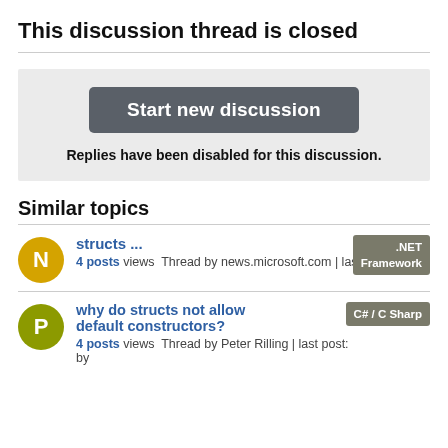This discussion thread is closed
Start new discussion
Replies have been disabled for this discussion.
Similar topics
structs ...
4 posts views Thread by news.microsoft.com | last post: by
why do structs not allow default constructors?
4 posts views Thread by Peter Rilling | last post: by